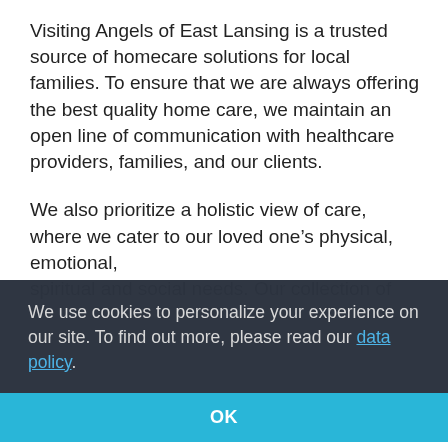Visiting Angels of East Lansing is a trusted source of homecare solutions for local families. To ensure that we are always offering the best quality home care, we maintain an open line of communication with healthcare providers, families, and our clients.
We also prioritize a holistic view of care, where we cater to our loved one's physical, emotional, spiritual and social needs. Our collection of services can help with navigation, more that addresses and plans for the health and illness needs.
We use cookies to personalize your experience on our site. To find out more, please read our data policy.
OK
The senior care included in our Life Care